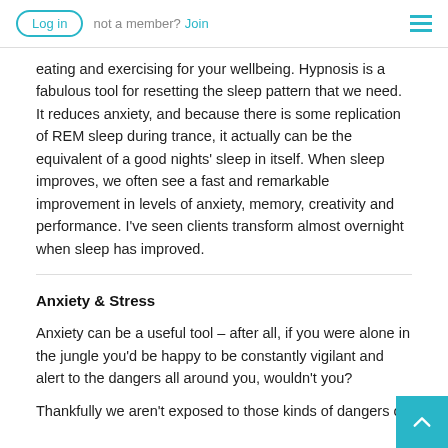Log in  not a member?  Join
eating and exercising for your wellbeing. Hypnosis is a fabulous tool for resetting the sleep pattern that we need. It reduces anxiety, and because there is some replication of REM sleep during trance, it actually can be the equivalent of a good nights' sleep in itself. When sleep improves, we often see a fast and remarkable improvement in levels of anxiety, memory, creativity and performance. I've seen clients transform almost overnight when sleep has improved.
Anxiety & Stress
Anxiety can be a useful tool – after all, if you were alone in the jungle you'd be happy to be constantly vigilant and alert to the dangers all around you, wouldn't you?
Thankfully we aren't exposed to those kinds of dangers a...